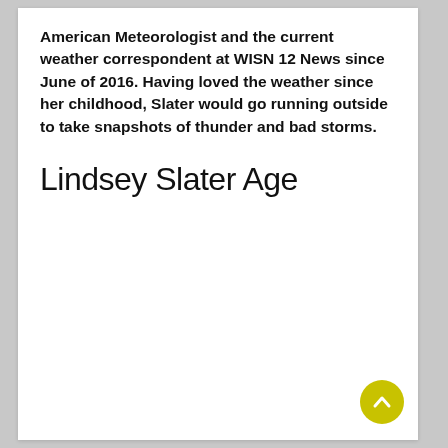American Meteorologist and the current weather correspondent at WISN 12 News since June of 2016. Having loved the weather since her childhood, Slater would go running outside to take snapshots of thunder and bad storms.
Lindsey Slater Age